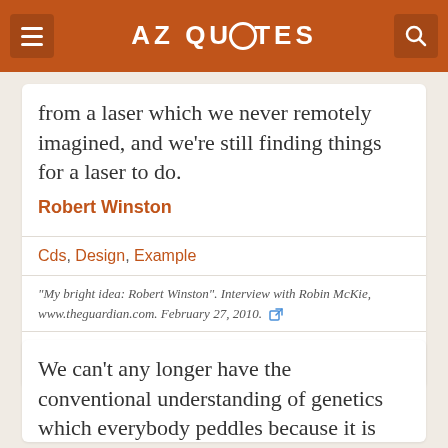AZ QUOTES
from a laser which we never remotely imagined, and we're still finding things for a laser to do.
Robert Winston
Cds, Design, Example
"My bright idea: Robert Winston". Interview with Robin McKie, www.theguardian.com. February 27, 2010.
3  Copy
We can't any longer have the conventional understanding of genetics which everybody peddles because it is increasingly obvious that